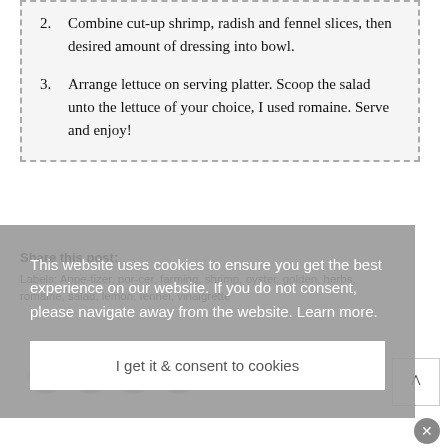2. Combine cut-up shrimp, radish and fennel slices, then desired amount of dressing into bowl.
3. Arrange lettuce on serving platter. Scoop the salad unto the lettuce of your choice, I used romaine. Serve and enjoy!
Share this post:
Labels: Appet-izer, Porc-er, farming, shrimp, oyster, golden, herbs, romaine, salad, lemon, fennel, vinaigrette
This website uses cookies to ensure you get the best experience on our website. If you do not consent, please navigate away from the website. Learn more.
I get it & consent to cookies